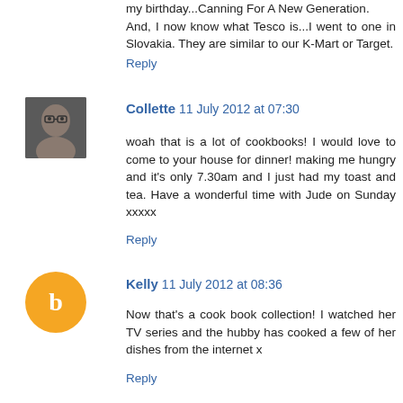my birthday...Canning For A New Generation. And, I now know what Tesco is...I went to one in Slovakia. They are similar to our K-Mart or Target.
Reply
[Figure (photo): Avatar photo of Collette, a woman with glasses]
Collette  11 July 2012 at 07:30
woah that is a lot of cookbooks! I would love to come to your house for dinner! making me hungry and it's only 7.30am and I just had my toast and tea. Have a wonderful time with Jude on Sunday xxxxx
Reply
[Figure (logo): Blogger orange circle logo with white B]
Kelly  11 July 2012 at 08:36
Now that's a cook book collection! I watched her TV series and the hubby has cooked a few of her dishes from the internet x
Reply